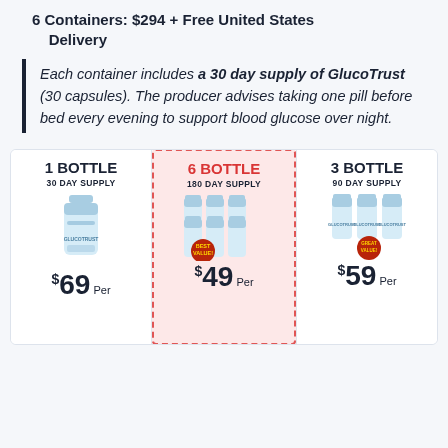6 Containers: $294 + Free United States Delivery
Each container includes a 30 day supply of GlucoTrust (30 capsules). The producer advises taking one pill before bed every evening to support blood glucose over night.
[Figure (infographic): Pricing comparison table showing three bottle options: 1 Bottle 30 Day Supply $69 Per, 6 Bottle 180 Day Supply $49 Per (Best Value, featured), 3 Bottle 90 Day Supply $59 Per (Great Value)]